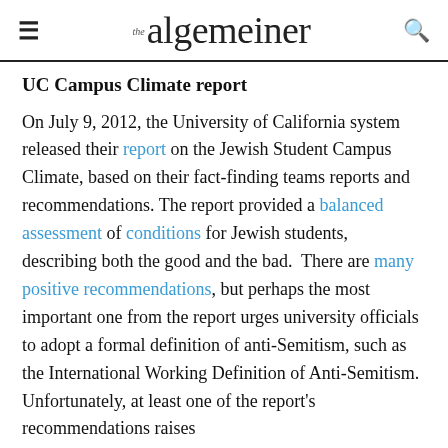≡  the algemeiner  🔍
UC Campus Climate report
On July 9, 2012, the University of California system released their report on the Jewish Student Campus Climate, based on their fact-finding teams reports and recommendations. The report provided a balanced assessment of conditions for Jewish students, describing both the good and the bad.  There are many positive recommendations, but perhaps the most important one from the report urges university officials to adopt a formal definition of anti-Semitism, such as the International Working Definition of Anti-Semitism.  Unfortunately, at least one of the report's recommendations raises